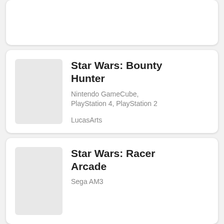Star Wars: Bounty Hunter
Nintendo GameCube, PlayStation 4, PlayStation 2
LucasArts
Star Wars: Racer Arcade
Sega AM3